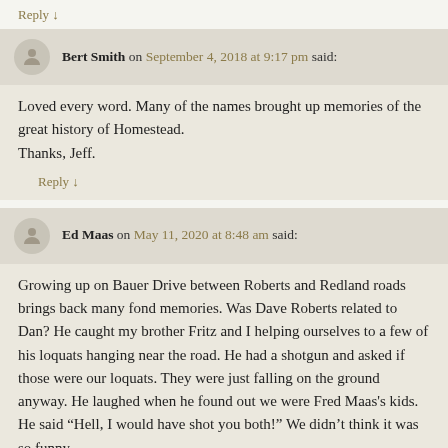Reply ↓
Bert Smith on September 4, 2018 at 9:17 pm said:
Loved every word. Many of the names brought up memories of the great history of Homestead.
Thanks, Jeff.
Reply ↓
Ed Maas on May 11, 2020 at 8:48 am said:
Growing up on Bauer Drive between Roberts and Redland roads brings back many fond memories. Was Dave Roberts related to Dan? He caught my brother Fritz and I helping ourselves to a few of his loquats hanging near the road. He had a shotgun and asked if those were our loquats. They were just falling on the ground anyway. He laughed when he found out we were Fred Maas's kids. He said “Hell, I would have shot you both!” We didn’t think it was so funny.
Reply ↓